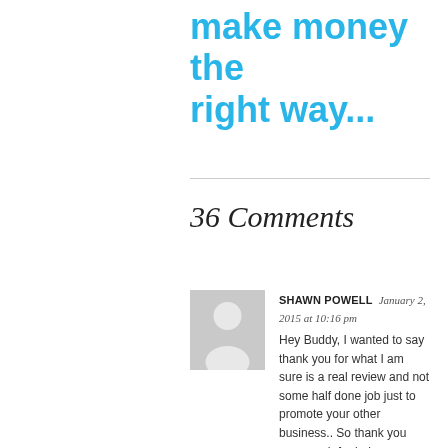make money the right way...
36 Comments
SHAWN POWELL   January 2, 2015 at 10:16 pm
Hey Buddy, I wanted to say thank you for what I am sure is a real review and not some half done job just to promote your other business.. So thank you very much for being very professional by doing so. Now what have I learned with Instant